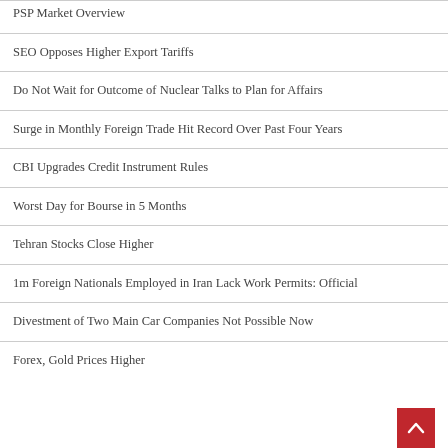PSP Market Overview
SEO Opposes Higher Export Tariffs
Do Not Wait for Outcome of Nuclear Talks to Plan for Affairs
Surge in Monthly Foreign Trade Hit Record Over Past Four Years
CBI Upgrades Credit Instrument Rules
Worst Day for Bourse in 5 Months
Tehran Stocks Close Higher
1m Foreign Nationals Employed in Iran Lack Work Permits: Official
Divestment of Two Main Car Companies Not Possible Now
Forex, Gold Prices Higher